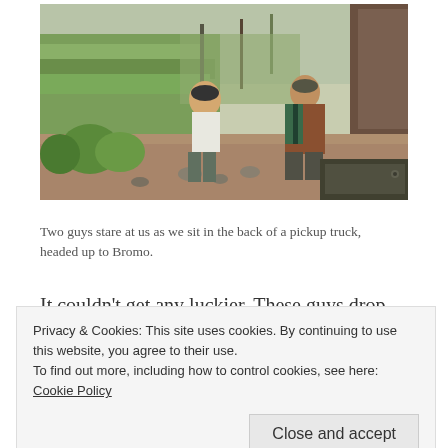[Figure (photo): Two men sitting on what appears to be the back of a pickup truck with green terraced farmland and trees in the background. One man wears a white shirt and dark cap, the other wears a brown shirt and striped shawl.]
Two guys stare at us as we sit in the back of a pickup truck, headed up to Bromo.
It couldn't get any luckier. These guys drop us off
Privacy & Cookies: This site uses cookies. By continuing to use this website, you agree to their use.
To find out more, including how to control cookies, see here: Cookie Policy
Close and accept
smile and shake their heads. "Terimah Kasi" is all